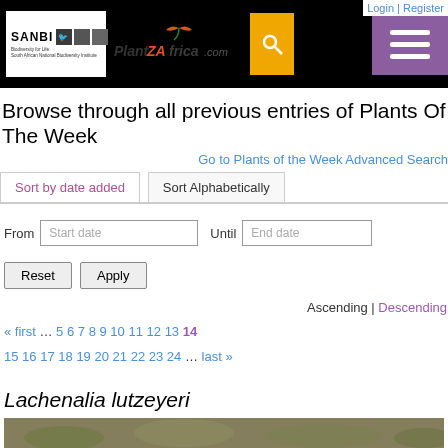Login | Register
[Figure (logo): SANBI and PlantZAfrica.com website header with search and hamburger menu buttons]
Browse through all previous entries of Plants Of The Week
Go to Plants of the Week Advanced Search
Sort by date added | Sort Alphabetically
From [Start date] Until [End date]
Reset  Apply
Ascending | Descending
« first … 5 6 7 8 9 10 11 12 13 14 15 16 17 18 19 20 21 22 23 24 … last »
Lachenalia lutzeyeri
[Figure (photo): Photograph of Lachenalia lutzeyeri plant]